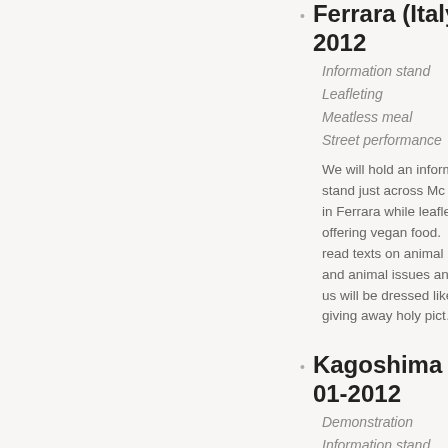Ferrara (Italy), 2... 2012
Information stand
Leafleting
Meatless meal
Street performance
We will hold an inform... stand just across Mc... in Ferrara while leafle... offering vegan food. ... read texts on animal ... and animal issues an... us will be dressed like... giving away holy pict...
Kagoshima (Jap... 01-2012
Demonstration
Information stand
Leafleting
Poster-sticking